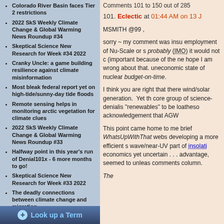Colorado River Basin faces Tier 2 restrictions
2022 SkS Weekly Climate Change & Global Warming News Roundup #34
Skeptical Science New Research for Week #34 2022
Cranky Uncle: a game building resilience against climate misinformation
Most bleak federal report yet on high-tide/sunny-day tide floods
Remote sensing helps in monitoring arctic vegetation for climate clues
2022 SkS Weekly Climate Change & Global Warming News Roundup #33
Halfway point in this year's run of Denial101x - 6 more months to go!
Skeptical Science New Research for Week #33 2022
The deadly connections between climate change and migration
IPCC Explainer: Mitigation of Climate Change
Geothermal heating and cooling: Renewable energy's hidden gem
2022 SkS Weekly Climate Change & Global Warming News Roundup #33
Comments 101 to 150 out of 285
101. Eclectic at 01:44 AM on 13 J
MSMITH @99 ,
sorry ~ my comment was insu employment of Nu-Scale or s probably (IMO) it would not c (important because of the ne hope I am wrong about that. uneconomic state of nuclear budget-on-time.
I think you are right that there wind/solar generation. Yet th core group of science-denialis "renewables" to be loatheso acknowledgement that AGW
This point came home to me brief WhatsUpWithThat webs developing a more efficient s wave/near-UV part of insolati economics yet uncertain . . . advantage, seemed to unleas comments column.